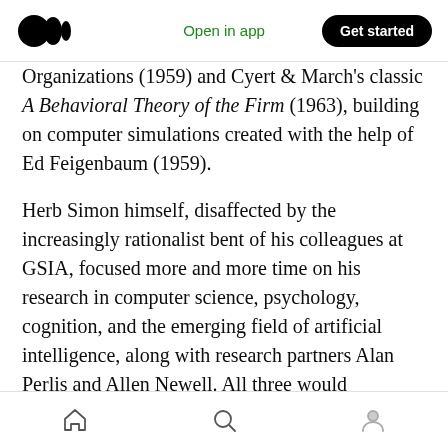Medium | Open in app | Get started
Organizations (1959) and Cyert & March's classic A Behavioral Theory of the Firm (1963), building on computer simulations created with the help of Ed Feigenbaum (1959).
Herb Simon himself, disaffected by the increasingly rationalist bent of his colleagues at GSIA, focused more and more time on his research in computer science, psychology, cognition, and the emerging field of artificial intelligence, along with research partners Alan Perlis and Allen Newell. All three would eventually receive the Turing Award for their
Home | Search | Profile